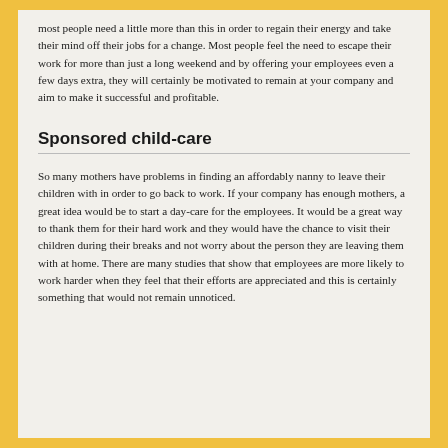most people need a little more than this in order to regain their energy and take their mind off their jobs for a change. Most people feel the need to escape their work for more than just a long weekend and by offering your employees even a few days extra, they will certainly be motivated to remain at your company and aim to make it successful and profitable.
Sponsored child-care
So many mothers have problems in finding an affordably nanny to leave their children with in order to go back to work. If your company has enough mothers, a great idea would be to start a day-care for the employees. It would be a great way to thank them for their hard work and they would have the chance to visit their children during their breaks and not worry about the person they are leaving them with at home. There are many studies that show that employees are more likely to work harder when they feel that their efforts are appreciated and this is certainly something that would not remain unnoticed.